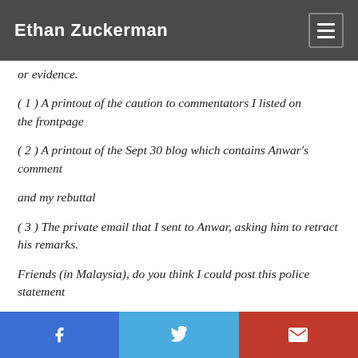Ethan Zuckerman
or evidence.
( 1 ) A printout of the caution to commentators I listed on the frontpage
( 2 ) A printout of the Sept 30 blog which contains Anwar's comment
and my rebuttal
( 3 ) The private email that I sent to Anwar, asking him to retract his remarks.
Friends (in Malaysia), do you think I could post this police statement
Facebook | Twitter | Email